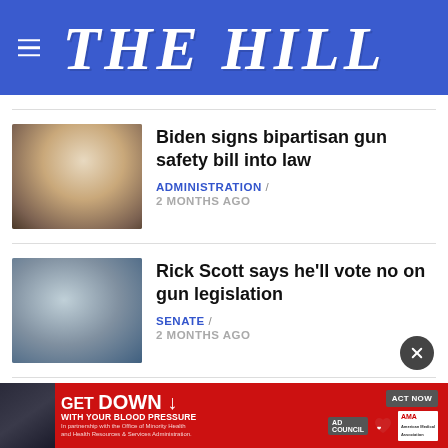THE HILL
[Figure (photo): Photo of President Biden speaking at a podium]
Biden signs bipartisan gun safety bill into law
ADMINISTRATION / 2 MONTHS AGO
[Figure (photo): Photo of Rick Scott with other people in background]
Rick Scott says he'll vote no on gun legislation
SENATE / 2 MONTHS AGO
[Figure (photo): Partial view of third article thumbnail]
WIDE /
[Figure (other): Advertisement banner: GET DOWN WITH YOUR BLOOD PRESSURE - ACT NOW - ad council, American Heart Association, AMA]